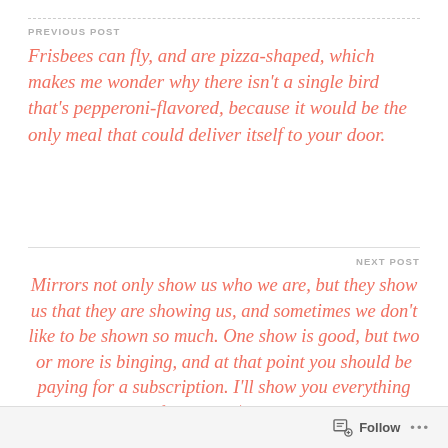PREVIOUS POST
Frisbees can fly, and are pizza-shaped, which makes me wonder why there isn't a single bird that's pepperoni-flavored, because it would be the only meal that could deliver itself to your door.
NEXT POST
Mirrors not only show us who we are, but they show us that they are showing us, and sometimes we don't like to be shown so much. One show is good, but two or more is binging, and at that point you should be paying for a subscription. I'll show you everything for ONLY $19.95.
Follow ...